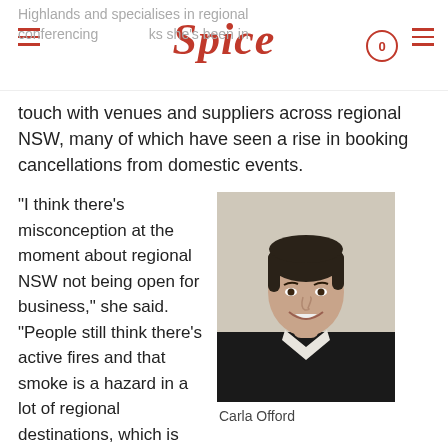Spice — navigation bar with logo
Highlands and specialises in regional conferencing … she's been in touch with venues and suppliers across regional NSW, many of which have seen a rise in booking cancellations from domestic events.
“I think there’s misconception at the moment about regional NSW not being open for business,” she said. “People still think there’s active fires and that smoke is a hazard in a lot of regional destinations, which is actually not
[Figure (photo): Portrait photo of Carla Offord, a woman with short dark hair wearing a black blazer and white shirt, smiling]
Carla Offord